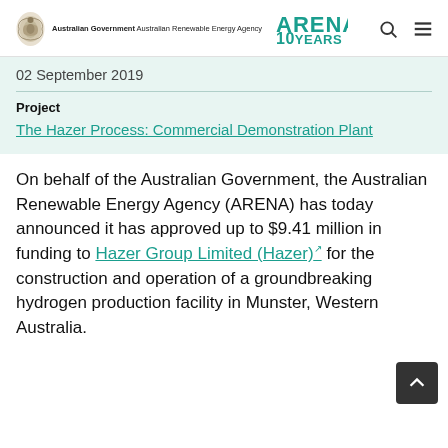Australian Government Australian Renewable Energy Agency | ARENA 10 YEARS
02 September 2019
Project
The Hazer Process: Commercial Demonstration Plant
On behalf of the Australian Government, the Australian Renewable Energy Agency (ARENA) has today announced it has approved up to $9.41 million in funding to Hazer Group Limited (Hazer) for the construction and operation of a groundbreaking hydrogen production facility in Munster, Western Australia.